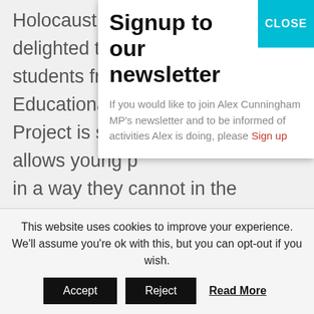Holocaust Edu... delighted that A... students from... Educational Tr... Project is such... allows young p... in a way they cannot in the classroom. The Holocaust was a defining episode in history, and this visit enables young people to see for themselves where racism, prejudice and anti-semitism can ultimately lead."
Signup to our newsletter
If you would like to join Alex Cunningham MP's newsletter and to be informed of activities Alex is doing, please Sign up
This website uses cookies to improve your experience. We'll assume you're ok with this, but you can opt-out if you wish.
Accept | Reject | Read More